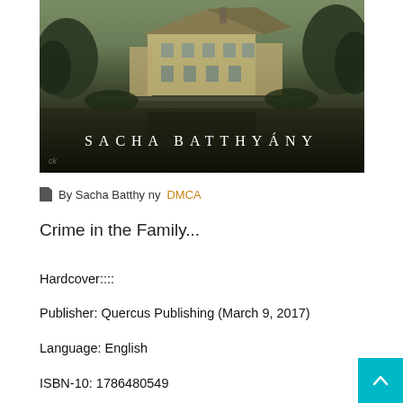[Figure (photo): Book cover image showing an old manor house near a lake or river, dark atmospheric tones. Author name 'SACHA BATTHYÁNY' in white serif letters with wide letter-spacing across the bottom of the image.]
By Sacha Batthy ny  DMCA
Crime in the Family...
Hardcover::::
Publisher: Quercus Publishing (March 9, 2017)
Language: English
ISBN-10: 1786480549
ISBN-13: 978-1786480545
Product Dimensions: 5.7 x 0.0 x 8.7 inches